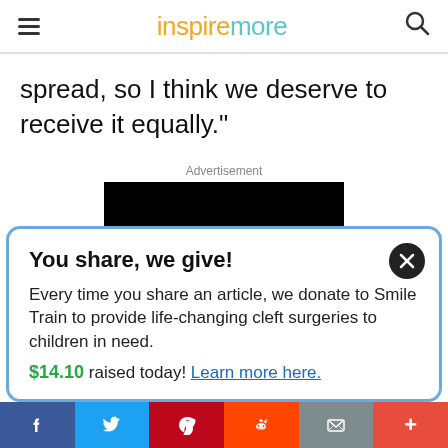inspiremore
spread, so I think we deserve to receive it equally."
Advertisement
[Figure (other): Black advertisement rectangle placeholder]
You share, we give! Every time you share an article, we donate to Smile Train to provide life-changing cleft surgeries to children in need. $14.10 raised today! Learn more here.
f  Twitter  Pinterest  Reddit  Email  +